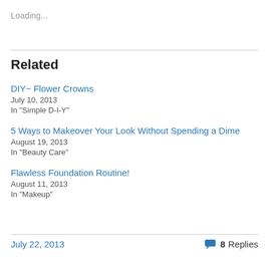Loading...
Related
DIY~ Flower Crowns
July 10, 2013
In "Simple D-I-Y"
5 Ways to Makeover Your Look Without Spending a Dime
August 19, 2013
In "Beauty Care"
Flawless Foundation Routine!
August 11, 2013
In "Makeup"
July 22, 2013    8 Replies